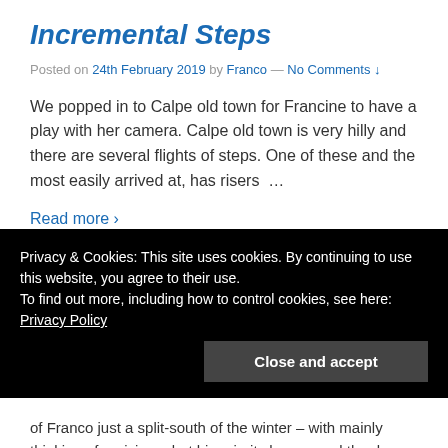Incremental Steps
Posted on 24th February 2019 by Franco — No Comments ↓
We popped in to Calpe old town for Francine to have a play with her camera. Calpe old town is very hilly and there are several flights of steps. One of these and the most easily arrived at, has risers  …
Read more ›
Posted in 2018-2019 Winter
Winter at Hondo
Privacy & Cookies: This site uses cookies. By continuing to use this website, you agree to their use.
To find out more, including how to control cookies, see here: Privacy Policy
Close and accept
of Franco just a split-south of the shore – with mainly thinking of pericing – but his priority has moved the day...